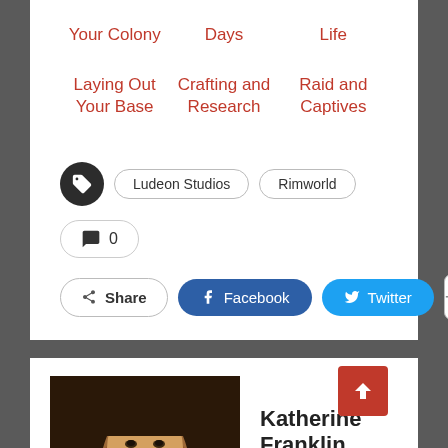Your Colony
Days
Life
Laying Out Your Base
Crafting and Research
Raid and Captives
Ludeon Studios  Rimworld
0
Share  Facebook  Twitter  +
Katherine Franklin  –  83 Posts  –  4 Comments